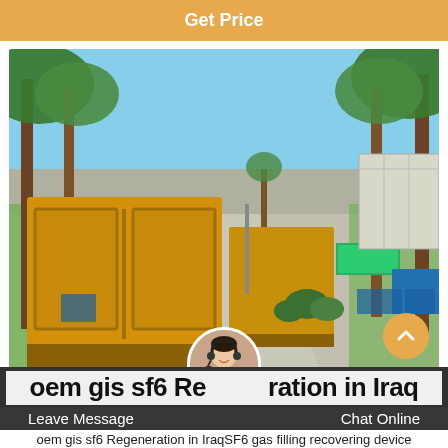Get Price
[Figure (photo): Yellow delivery trucks parked on a road beside a facility with trees lining both sides and Chinese signage in the background.]
oem gis sf6 Regeneration in Iraq
Leave Message   Chat Online
oem gis sf6 Regeneration in IraqSF6 gas filling recovering device